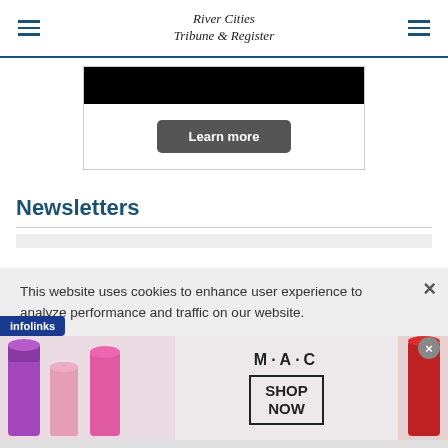River Cities Tribune & Register
[Figure (screenshot): Ad card with black banner and Learn more button]
Newsletters
This website uses cookies to enhance user experience to analyze performance and traffic on our website.
[Figure (photo): MAC cosmetics advertisement showing lipsticks with MAC logo and SHOP NOW call to action]